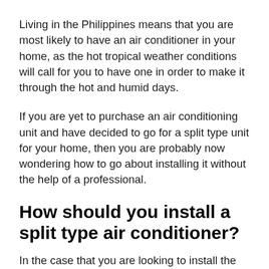Living in the Philippines means that you are most likely to have an air conditioner in your home, as the hot tropical weather conditions will call for you to have one in order to make it through the hot and humid days.
If you are yet to purchase an air conditioning unit and have decided to go for a split type unit for your home, then you are probably now wondering how to go about installing it without the help of a professional.
How should you install a split type air conditioner?
In the case that you are looking to install the